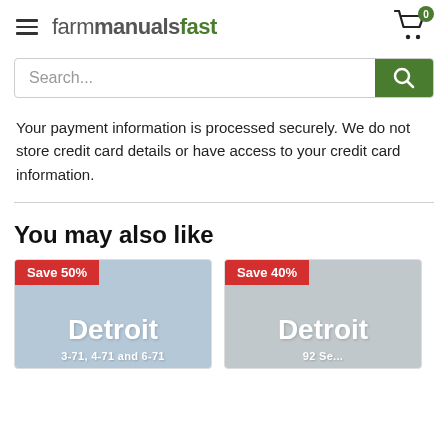farmmanualsfast
[Figure (screenshot): Search bar with green search button]
Your payment information is processed securely. We do not store credit card details or have access to your credit card information.
You may also like
[Figure (photo): Product card with Save 50% badge and Detroit text]
[Figure (photo): Product card with Save 40% badge and Detroit text]